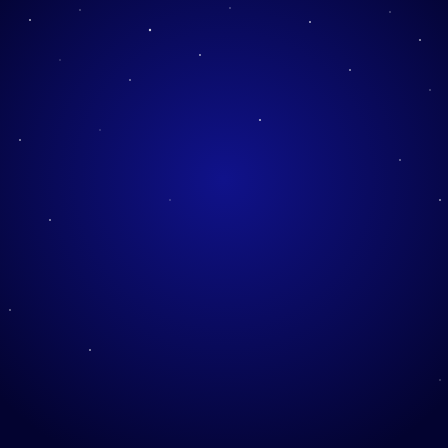[Figure (logo): Copyscape badge: PROTECTED BY COPYSCAPE DO NOT COPY]
Free Online Games | Casual Games | Browser Games | Mobile Games | Indie Games | Escape Games
Surgeon Simulator | Cut the rope| The House | Super Hexagon | The Binding of Isaac | Pony creator | Dojo of Death
Games at Jay Is Games
JayIsGames offers a free online experience with the best free online games. You can read our daily honest reviews and walkthroughs, play games, discuss about them. JayIsGames.com is a leading Flash and Online game review site. Since 2003, we review every day only the best, including casual games, flash games, arcade games, indie games, download games, shooting games, escape games, RPG games, puzzle games, mobile games and much more. Submit a Game: Don't just read reviews or play games on JayIsGames.com, submit them! Submit your game now and we might